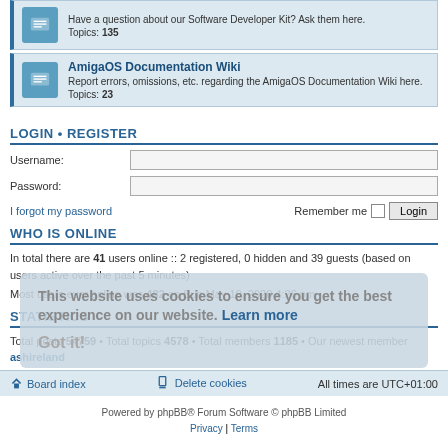Have a question about our Software Developer Kit? Ask them here. Topics: 135
AmigaOS Documentation Wiki
Report errors, omissions, etc. regarding the AmigaOS Documentation Wiki here. Topics: 23
LOGIN • REGISTER
Username:
Password:
I forgot my password   Remember me  Login
WHO IS ONLINE
In total there are 41 users online :: 2 registered, 0 hidden and 39 guests (based on users active over the past 5 minutes)
Most users ever online was 482 on Sun May 10, 2020 4:26 pm
STATISTICS
Total posts 54759 • Total topics 4578 • Total members 1185 • Our newest member ashireland
Board index   Delete cookies   All times are UTC+01:00
Powered by phpBB® Forum Software © phpBB Limited
Privacy | Terms